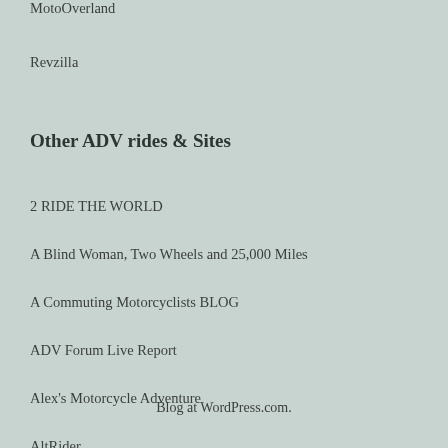MotoOverland
Revzilla
Other ADV rides & Sites
2 RIDE THE WORLD
A Blind Woman, Two Wheels and 25,000 Miles
A Commuting Motorcyclists BLOG
ADV Forum Live Report
Alex's Motorcycle Adventure
AltRider
Blog at WordPress.com.